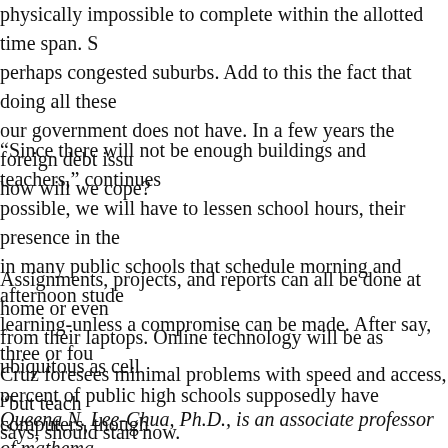physically impossible to complete within the allotted time span. S perhaps congested suburbs. Add to this the fact that doing all these our government does not have. In a few years the foreign debt issu how will we cope?
“Since there will not be enough buildings and teachers,” continues possible, we will have to lessen school hours, their presence in the in many public schools that schedule morning and afternoon stude learning-unless a compromise can be made. After say, three or fou
Assignments, projects, and reports can all be done at home or even from their laptops. Online technology will be as ubiquitous as cell percent of public high schools supposedly have computers, though
Cruz foresees minimal problems with speed and access, “but teach says, should start now.
Queena N. Lee-Chua, Ph.D., is an associate professor of mathema Metrobank Outstanding Teacher Awardee, she writes a weekly sci